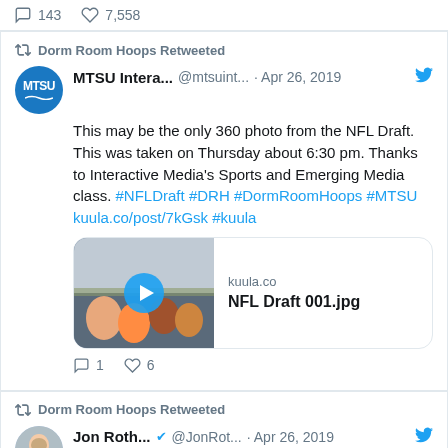143   7,558
Dorm Room Hoops Retweeted
MTSU Intera... @mtsuint... · Apr 26, 2019
This may be the only 360 photo from the NFL Draft. This was taken on Thursday about 6:30 pm. Thanks to Interactive Media's Sports and Emerging Media class. #NFLDraft #DRH #DormRoomHoops #MTSU kuula.co/post/7kGsk #kuula
[Figure (screenshot): Media card showing kuula.co link preview with thumbnail of crowd scene and play button. Shows 'kuula.co' and 'NFL Draft 001.jpg']
1   6
Dorm Room Hoops Retweeted
Jon Roth... @JonRot... · Apr 26, 2019
Virginia's Basketball Team has declined an invitation to visit the White House, per release